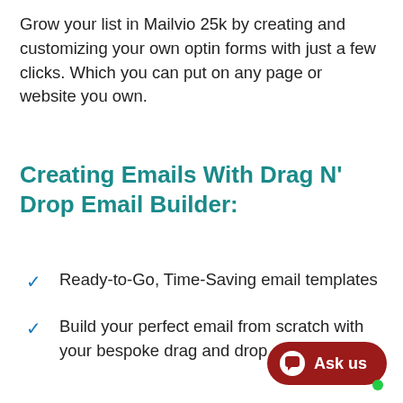Grow your list in Mailvio 25k by creating and customizing your own optin forms with just a few clicks. Which you can put on any page or website you own.
Creating Emails With Drag N' Drop Email Builder:
Ready-to-Go, Time-Saving email templates
Build your perfect email from scratch with your bespoke drag and drop email builder.